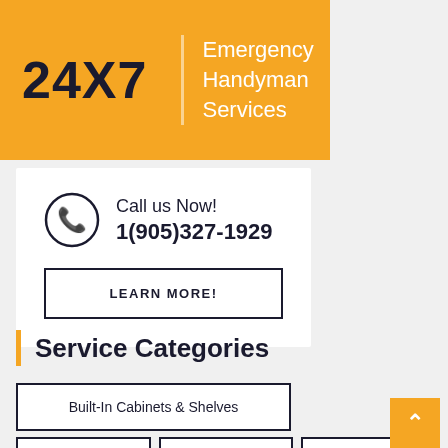[Figure (infographic): Orange banner with bold '24X7' text on the left, a vertical white divider line, and 'Emergency Handyman Services' text in white on the right]
Call us Now!
1(905)327-1929
LEARN MORE!
Service Categories
Built-In Cabinets & Shelves
Decks & Fences
Drywall
Electrical